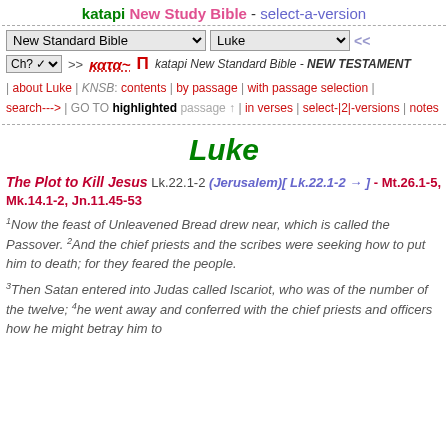katapi New Study Bible - select-a-version
New Standard Bible [dropdown] | Luke [dropdown] <<
Ch? >> κατα~Π katapi New Standard Bible - NEW TESTAMENT
| about Luke | KNSB: contents | by passage | with passage selection | search---> | GO TO highlighted passage | in verses | select-|2|-versions | notes
Luke
The Plot to Kill Jesus  Lk.22.1-2 (Jerusalem)[ Lk.22.1-2 → ] - Mt.26.1-5, Mk.14.1-2, Jn.11.45-53
1Now the feast of Unleavened Bread drew near, which is called the Passover. 2And the chief priests and the scribes were seeking how to put him to death; for they feared the people.
3Then Satan entered into Judas called Iscariot, who was of the number of the twelve; 4he went away and conferred with the chief priests and officers how he might betray him to